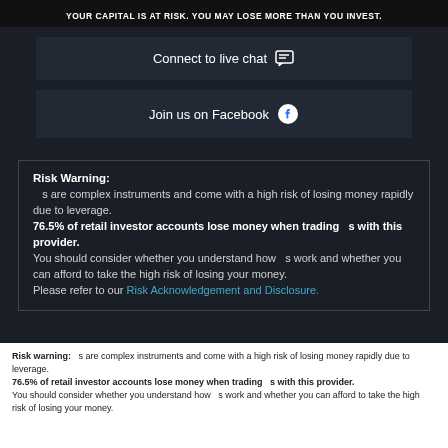YOUR CAPITAL IS AT RISK. YOU MAY LOSE MORE THAN YOU INVEST.
Connect to live chat
Join us on Facebook
Risk Warning:
  s are complex instruments and come with a high risk of losing money rapidly due to leverage.
76.5% of retail investor accounts lose money when trading  s with this provider.
You should consider whether you understand how   s work and whether you can afford to take the high risk of losing your money.
Please refer to our Risk Acknowledgement and Disclosure.
Risk warning:   s are complex instruments and come with a high risk of losing money rapidly due to leverage. 76.5% of retail investor accounts lose money when trading   s with this provider. You should consider whether you understand how   s work and whether you can afford to take the high risk of losing your money.